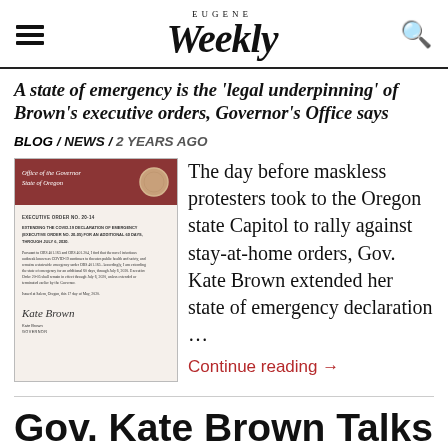EUGENE Weekly
A state of emergency is the 'legal underpinning' of Brown's executive orders, Governor's Office says
BLOG / NEWS / 2 YEARS AGO
[Figure (photo): Official Oregon Governor's Office Executive Order document with state seal, showing a signed executive order extending the COVID-19 state of emergency declaration through July 6, 2020, signed by Kate Brown, Governor.]
The day before maskless protesters took to the Oregon state Capitol to rally against stay-at-home orders, Gov. Kate Brown extended her state of emergency declaration …
Continue reading →
Gov. Kate Brown Talks